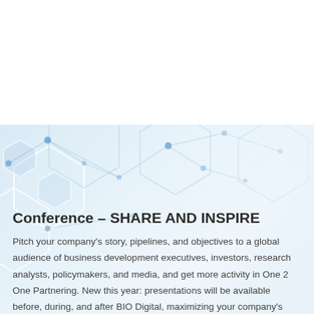[Figure (illustration): Light blue hexagonal network/molecular pattern background with connected nodes and geometric shapes on a gradient blue-white background]
Conference – SHARE AND INSPIRE
Pitch your company's story, pipelines, and objectives to a global audience of business development executives, investors, research analysts, policymakers, and media, and get more activity in One 2 One Partnering. New this year: presentations will be available before, during, and after BIO Digital, maximizing your company's exposure over a greater period of time!